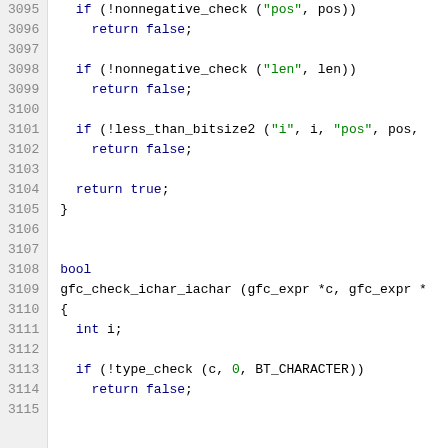Source code listing, lines 3095-3115, C language code
3095    if (!nonnegative_check ("pos", pos))
3096      return false;
3097
3098    if (!nonnegative_check ("len", len))
3099      return false;
3100
3101    if (!less_than_bitsize2 ("i", i, "pos", pos,
3102      return false;
3103
3104    return true;
3105  }
3106
3107
3108  bool
3109  gfc_check_ichar_iachar (gfc_expr *c, gfc_expr *
3110  {
3111    int i;
3112
3113    if (!type_check (c, 0, BT_CHARACTER))
3114      return false;
3115